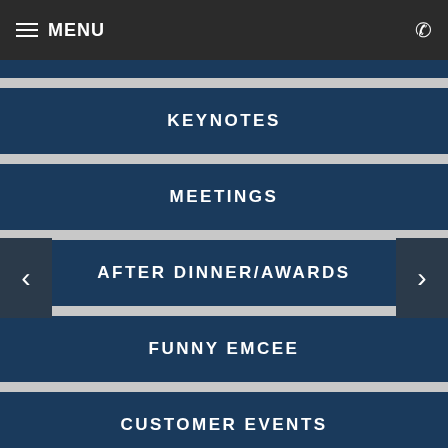MENU
KEYNOTES
MEETINGS
AFTER DINNER/AWARDS
FUNNY EMCEE
CUSTOMER EVENTS
EMPLOYEE EVENTS